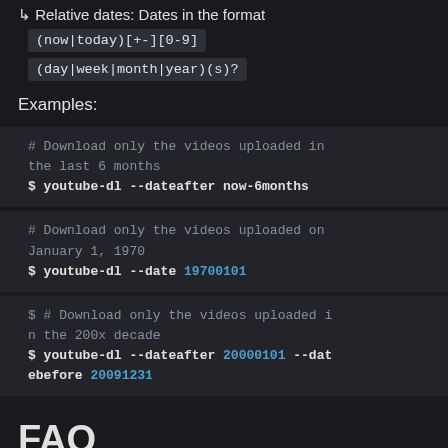Relative dates: Dates in the format
Examples:
# Download only the videos uploaded in the last 6 months
$ youtube-dl --dateafter now-6months
# Download only the videos uploaded on January 1, 1970
$ youtube-dl --date 19700101
$ # Download only the videos uploaded in the 200x decade
$ youtube-dl --dateafter 20000101 --datebefore 20091231
FAQ